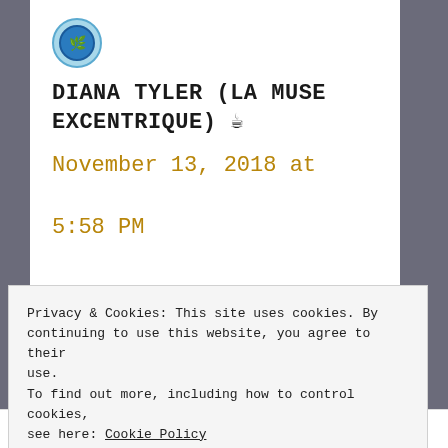[Figure (logo): Circular avatar/logo with blue tones and leaf/globe symbol]
DIANA TYLER (LA MUSE EXCENTRIQUE) ☕
November 13, 2018 at 5:58 PM
Privacy & Cookies: This site uses cookies. By continuing to use this website, you agree to their use.
To find out more, including how to control cookies, see here: Cookie Policy
Close and accept